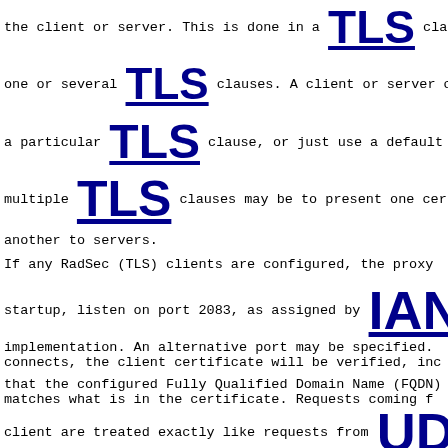the client or server.  This is done in a TLS claus
one or several TLS clauses.  A client or server cl
a particular TLS clause, or just use a default one
multiple TLS clauses may be to present one certifi
another to servers.
If any RadSec (TLS) clients are configured, the proxy
startup, listen on port 2083, as assigned by IANA
implementation.  An alternative port may be specified.
connects, the client certificate will be verified, inc
that the configured Fully Qualified Domain Name (FQDN)
matches what is in the certificate.  Requests coming f
client are treated exactly like requests from UDP
At startup, the proxy will try to establish a TLS
(if any) of the configured RadSec (TLS) servers.  If i
connect to a server, it will retry regularly.  There i
where it will retry quickly at first, and with longer